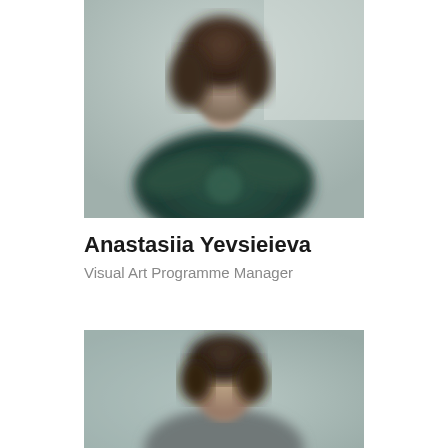[Figure (photo): Blurred portrait photo of a person wearing a dark green top, with arms crossed, against a light background]
Anastasiia Yevsieieva
Visual Art Programme Manager
[Figure (photo): Blurred portrait photo of a person, partially visible from the top, against a soft blue-grey background]